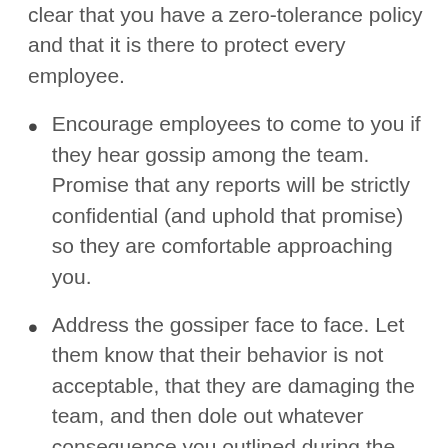clear that you have a zero-tolerance policy and that it is there to protect every employee.
Encourage employees to come to you if they hear gossip among the team. Promise that any reports will be strictly confidential (and uphold that promise) so they are comfortable approaching you.
Address the gossiper face to face. Let them know that their behavior is not acceptable, that they are damaging the team, and then dole out whatever consequence you outlined during the meeting.
Encourage positive talk throughout the office. If employees are busy building each other up, they won’t have time to tear each other down.
Advise employees to be cautious about who they share aspects of their personal life with. While it’s good team building to encourage socialization among employees, they should also be aware that personal information should only be shared with